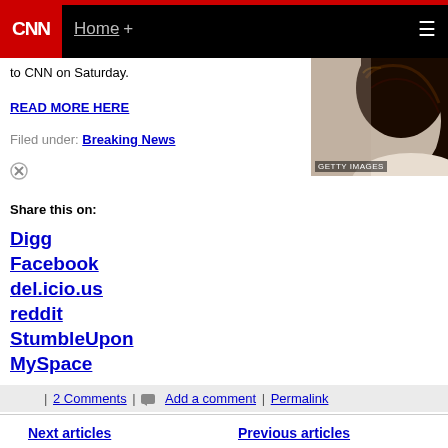CNN Home +
[Figure (photo): Back of a person's head with curly dark hair, Getty Images watermark]
to CNN on Saturday.
READ MORE HERE
Filed under: Breaking News
Share this on:
Digg
Facebook
del.icio.us
reddit
StumbleUpon
MySpace
| 2 Comments | Add a comment | Permalink
Next articles   Previous articles